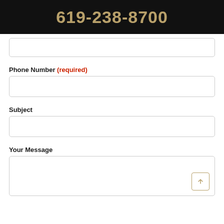619-238-8700
(required)
Phone Number (required)
Subject
Your Message